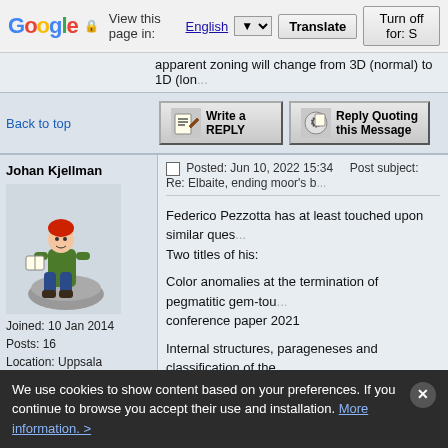Google  View this page in: English [▼]  Translate  Turn off for: S
apparent zoning will change from 3D (normal) to 1D (long...
Back to top
Write a REPLY  |  Reply Quoting this Message
Posted: Jun 10, 2022 15:34    Post subject: Re: Elbaite, ending moor's b...
Johan Kjellman
[Figure (illustration): Avatar image of a medieval/fantasy figure sitting on a rock, holding a book]
Joined: 10 Jan 2014
Posts: 16
Location: Uppsala
profile
pm
Federico Pezzotta has at least touched upon similar ques...
Two titles of his:
Color anomalies at the termination of pegmatitic gem-tou... conference paper 2021
Internal structures, parageneses and classification of the...

His work is available at researchgate.

cheers
We use cookies to show content based on your preferences. If you continue to browse you accept their use and installation. More information. >